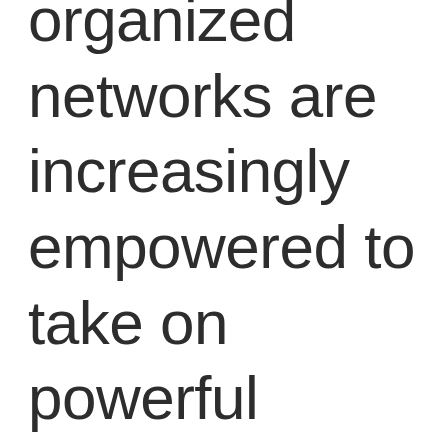organized networks are increasingly empowered to take on powerful institutions, in ways that once